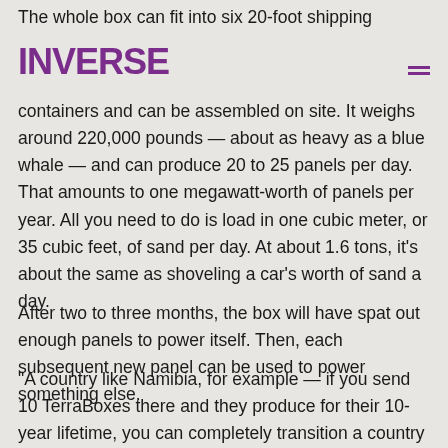The whole box can fit into six 20-foot shipping containers and can be assembled on site. It weighs around 220,000 pounds — about as heavy as a blue whale — and can produce 20 to 25 panels per day. That amounts to one megawatt-worth of panels per year. All you need to do is load in one cubic meter, or 35 cubic feet, of sand per day. At about 1.6 tons, it's about the same as shoveling a car's worth of sand a day.
[Figure (logo): INVERSE logo in bold purple text]
After two to three months, the box will have spat out enough panels to power itself. Then, each subsequent new panel can be used to power something else.
“A country like Namibia, for example — if you send 10 TerraBoxes there and they produce for their 10-year lifetime, you can completely transition a country like that to renewable energy,” van Oorschot says.